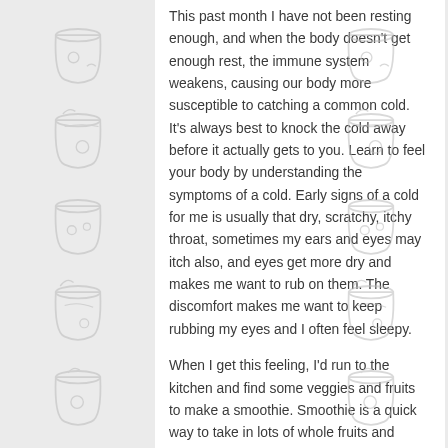[Figure (illustration): Decorative smoothie cup line-art icons repeated vertically on the left margin]
This past month I have not been resting enough, and when the body doesn't get enough rest, the immune system weakens, causing our body more susceptible to catching a common cold.  It's always best to knock the cold away before it actually gets to you.  Learn to feel your body by understanding the symptoms of a cold.  Early signs of a cold for me is usually that dry, scratchy, itchy throat, sometimes my ears and eyes may itch also, and eyes get more dry and makes me want to rub on them.  The discomfort makes me want to keep rubbing my eyes and I often feel sleepy.
When I get this feeling, I'd run to the kitchen and find some veggies and fruits to make a smoothie.  Smoothie is a quick way to take in lots of whole fruits and veggies, and the smoothie is so fine it allows the body to quickly absorb the nutrients.  To fight a common cold, you'd need to boost your immune system with vitamin C, magnesium and
[Figure (illustration): Decorative smoothie cup line-art icons repeated vertically on the right margin]